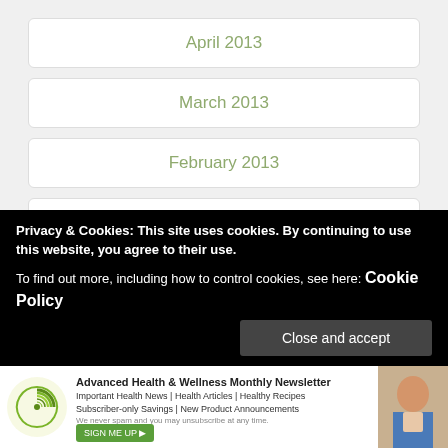April 2013
March 2013
February 2013
January 2013
December 2012
More
Privacy & Cookies: This site uses cookies. By continuing to use this website, you agree to their use.
To find out more, including how to control cookies, see here: Cookie Policy
Close and accept
[Figure (infographic): Advanced Health & Wellness Monthly Newsletter advertisement banner with green nautilus shell logo, newsletter title, descriptors: Important Health News | Health Articles | Healthy Recipes, Subscriber-only Savings | New Product Announcements, We never spam and you may unsubscribe at any time. SIGN ME UP button.]